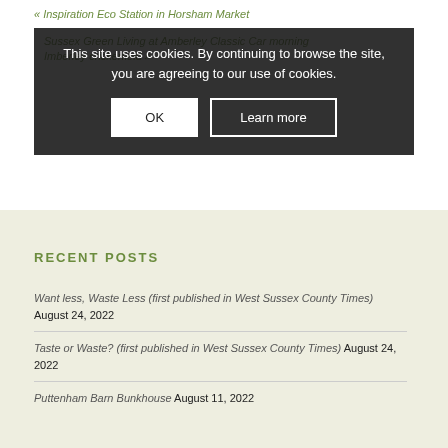« Inspiration Eco Station in Horsham Market
Sussex Green Living at Amberley Classic Car morning Imberley crickerfield »
This site uses cookies. By continuing to browse the site, you are agreeing to our use of cookies.
OK | Learn more
RECENT POSTS
Want less, Waste Less (first published in West Sussex County Times) August 24, 2022
Taste or Waste? (first published in West Sussex County Times) August 24, 2022
Puttenham Barn Bunkhouse August 11, 2022